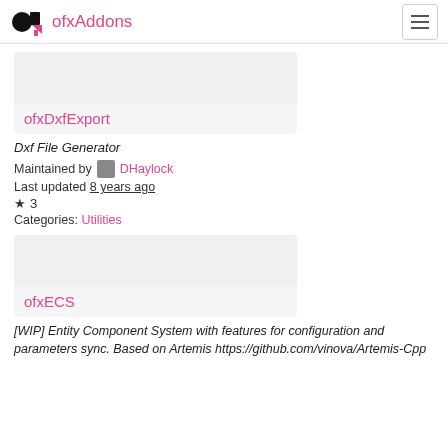ofxAddons
[Figure (screenshot): Gray placeholder card image for ofxDxfExport addon]
ofxDxfExport
Dxf File Generator
Maintained by DHaylock
Last updated 8 years ago
★ 3
Categories: Utilities
[Figure (screenshot): Gray placeholder card image for ofxECS addon]
ofxECS
[WIP] Entity Component System with features for configuration and parameters sync. Based on Artemis https://github.com/vinova/Artemis-Cpp